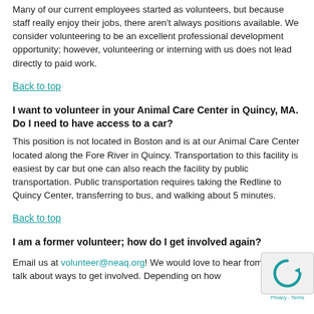Many of our current employees started as volunteers, but because staff really enjoy their jobs, there aren't always positions available. We consider volunteering to be an excellent professional development opportunity; however, volunteering or interning with us does not lead directly to paid work.
Back to top
I want to volunteer in your Animal Care Center in Quincy, MA. Do I need to have access to a car?
This position is not located in Boston and is at our Animal Care Center located along the Fore River in Quincy. Transportation to this facility is easiest by car but one can also reach the facility by public transportation. Public transportation requires taking the Redline to Quincy Center, transferring to bus, and walking about 5 minutes.
Back to top
I am a former volunteer; how do I get involved again?
Email us at volunteer@neaq.org! We would love to hear from you and talk about ways to get involved. Depending on how